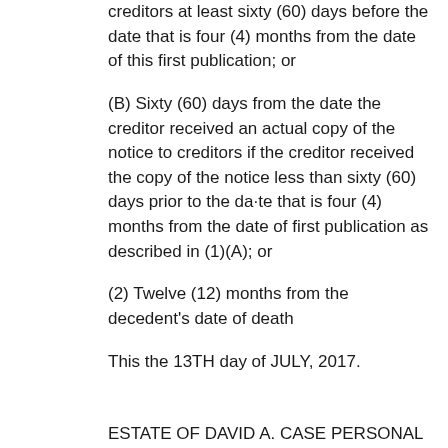creditors at least sixty (60) days before the date that is four (4) months from the date of this first publication; or
(B) Sixty (60) days from the date the creditor received an actual copy of the notice to creditors if the creditor received the copy of the notice less than sixty (60) days prior to the da·te that is four (4) months from the date of first publication as described in (1)(A); or
(2) Twelve (12) months from the decedent’s date of death
This the 13TH day of JULY, 2017.
ESTATE OF DAVID A. CASE PERSONAL REPRESENTATIVE(S)